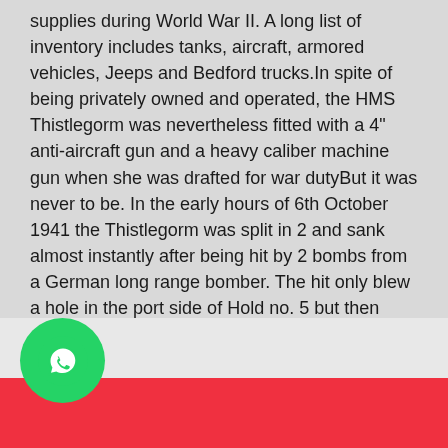supplies during World War II. A long list of inventory includes tanks, aircraft, armored vehicles, Jeeps and Bedford trucks.In spite of being privately owned and operated, the HMS Thistlegorm was nevertheless fitted with a 4" anti-aircraft gun and a heavy caliber machine gun when she was drafted for war dutyBut it was never to be. In the early hours of 6th October 1941 the Thistlegorm was split in 2 and sank almost instantly after being hit by 2 bombs from a German long range bomber. The hit only blew a hole in the port side of Hold no. 5 but then cargo tank ammunition ignited, causing the bulk of the damage.
[Figure (logo): WhatsApp icon — green circle with white speech bubble phone logo]